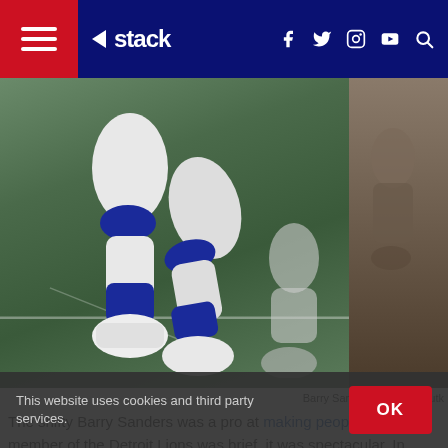stack — navigation bar with hamburger menu, social icons (f, twitter, instagram, youtube), search
[Figure (photo): Football player legs running on field (Barry Sanders) in white/blue uniform with white cleats, green turf; side panel showing another player on dirt/field surface (Dick Butkus context)]
Barry Sanders and Dick Butk
The shifty Barry Sanders was a pro at making people miss, a member of the Detroit Lions was brief, it was spectacular. In words, the rest of his career while getting into the end man...
This website uses cookies and third party services.